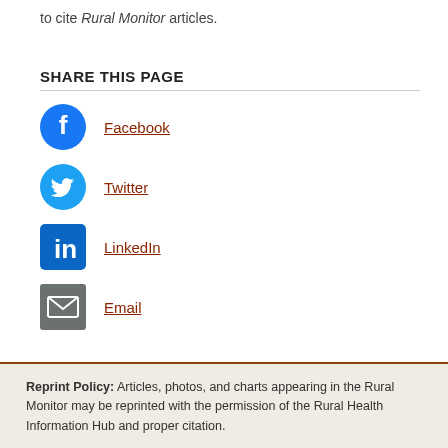to cite Rural Monitor articles.
SHARE THIS PAGE
Facebook
Twitter
LinkedIn
Email
Reprint Policy: Articles, photos, and charts appearing in the Rural Monitor may be reprinted with the permission of the Rural Health Information Hub and proper citation.